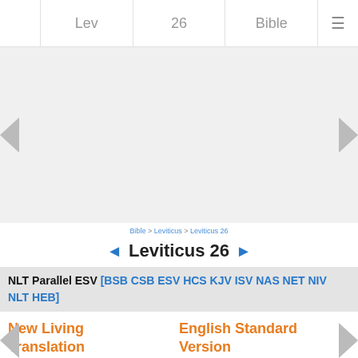Lev | 26 | Bible | ☰
[Figure (other): Advertisement / blank gray area placeholder]
Bible > Leviticus > Leviticus 26
◄ Leviticus 26 ►
NLT Parallel ESV [BSB CSB ESV HCS KJV ISV NAS NET NIV NLT HEB]
New Living Translation
English Standard Version